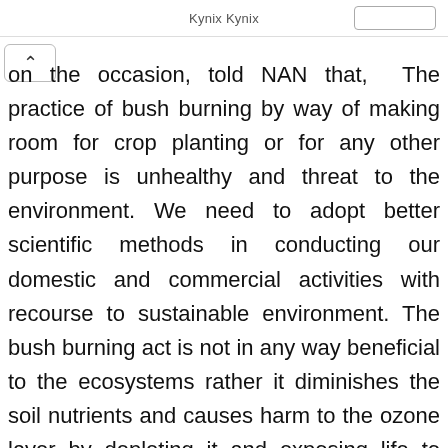Kynix Kynix
on the occasion, told NAN that, The practice of bush burning by way of making room for crop planting or for any other purpose is unhealthy and threat to the environment. We need to adopt better scientific methods in conducting our domestic and commercial activities with recourse to sustainable environment. The bush burning act is not in any way beneficial to the ecosystems rather it diminishes the soil nutrients and causes harm to the ozone layer by depleting it and exposing life to direct rays of sun. There are already existing laws in the states to correct this,  what is needed is for those regulations to be put to use by way enforcement this absurdity will end. A person might carry out the act of bush burning but the consequence is universal and it affects those that are not involved in the act, the crusade against climate